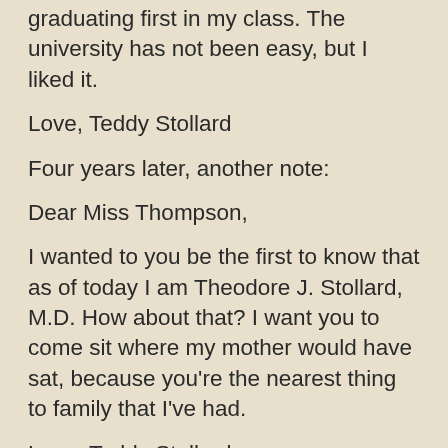graduating first in my class. The university has not been easy, but I liked it.
Love, Teddy Stollard
Four years later, another note:
Dear Miss Thompson,
I wanted to you be the first to know that as of today I am Theodore J. Stollard, M.D. How about that? I want you to come sit where my mother would have sat, because you're the nearest thing to family that I've had.
Love, Teddy Stollard
The ability to assign value is one of the rarest and greatest gifts in the world. So value what God values.